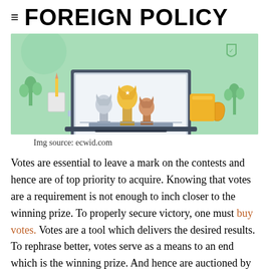≡ FOREIGN POLICY
[Figure (illustration): Illustration of a laptop screen displaying three trophy cups (gold, silver, bronze) on a shelf, with a pencil cup, a book, a yellow mug, and decorative plants on a mint green background.]
Img source: ecwid.com
Votes are essential to leave a mark on the contests and hence are of top priority to acquire. Knowing that votes are a requirement is not enough to inch closer to the winning prize. To properly secure victory, one must buy votes. Votes are a tool which delivers the desired results. To rephrase better, votes serve as a means to an end which is the winning prize. And hence are auctioned by various sites.